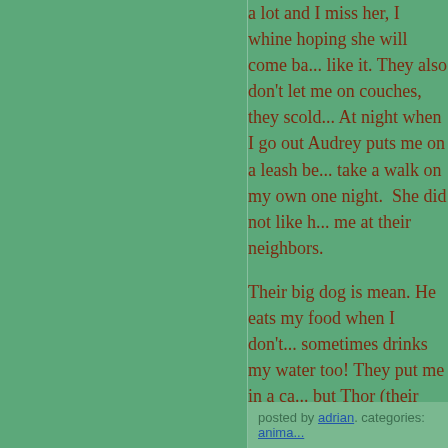a lot and I miss her, I whine hoping she will come ba... like it. They also don't let me on couches, they scold... At night when I go out Audrey puts me on a leash be... take a walk on my own one night.  She did not like h... me at their neighbors.
Their big dog is mean. He eats my food when I don't... sometimes drinks my water too! They put me in a ca... but Thor (their dog) gets to roam around, it's just not...
Mommy please! please! please! Get me out of here!... Otherwise I might starve to death! But it's time for be...
Goodnight mommy.
Love;
Flopsy
posted by adrian. categories: anima...